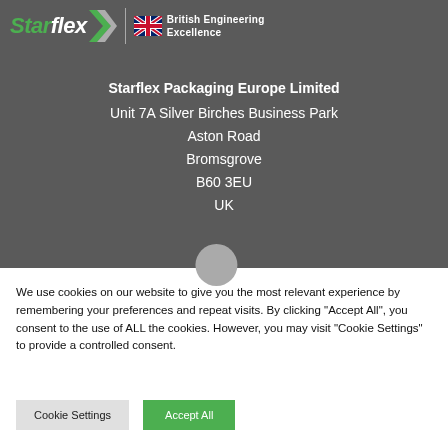[Figure (logo): Starflex logo with British Engineering Excellence text and UK flag icon on dark grey background]
Starflex Packaging Europe Limited
Unit 7A Silver Birches Business Park
Aston Road
Bromsgrove
B60 3EU
UK
We use cookies on our website to give you the most relevant experience by remembering your preferences and repeat visits. By clicking "Accept All", you consent to the use of ALL the cookies. However, you may visit "Cookie Settings" to provide a controlled consent.
Cookie Settings
Accept All